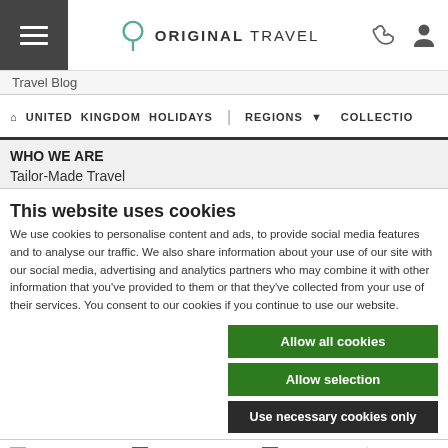Original Travel - navigation header with hamburger menu, logo, phone and account icons
Travel Blog
UNITED KINGDOM HOLIDAYS  REGIONS  COLLECTIO
WHO WE ARE
Tailor-Made Travel
This website uses cookies
We use cookies to personalise content and ads, to provide social media features and to analyse our traffic. We also share information about your use of our site with our social media, advertising and analytics partners who may combine it with other information that you've provided to them or that they've collected from your use of their services. You consent to our cookies if you continue to use our website.
Allow all cookies
Allow selection
Use necessary cookies only
Necessary  Preferences  Statistics  Marketing  Show details